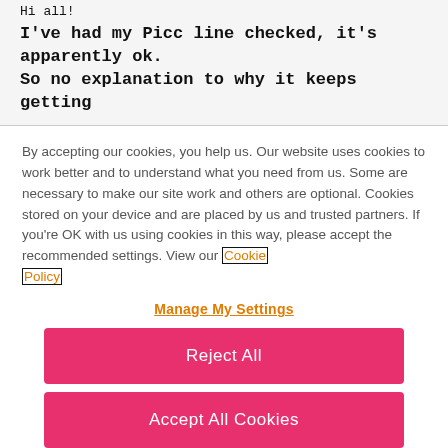Hi all!
I've had my Picc line checked, it's apparently ok. So no explanation to why it keeps getting
By accepting our cookies, you help us. Our website uses cookies to work better and to understand what you need from us. Some are necessary to make our site work and others are optional. Cookies stored on your device and are placed by us and trusted partners. If you're OK with us using cookies in this way, please accept the recommended settings. View our Cookie Policy
Manage My Settings
Reject All
Accept All Cookies